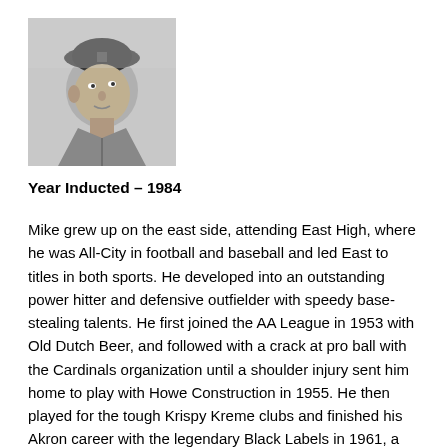[Figure (photo): Black and white portrait photo of a man wearing a baseball cap, looking upward and to the side.]
Year Inducted – 1984
Mike grew up on the east side, attending East High, where he was All-City in football and baseball and led East to titles in both sports. He developed into an outstanding power hitter and defensive outfielder with speedy base-stealing talents. He first joined the AA League in 1953 with Old Dutch Beer, and followed with a crack at pro ball with the Cardinals organization until a shoulder injury sent him home to play with Howe Construction in 1955. He then played for the tough Krispy Kreme clubs and finished his Akron career with the legendary Black Labels in 1961, a team that won 69 games. Mike always hit around .400 and won the